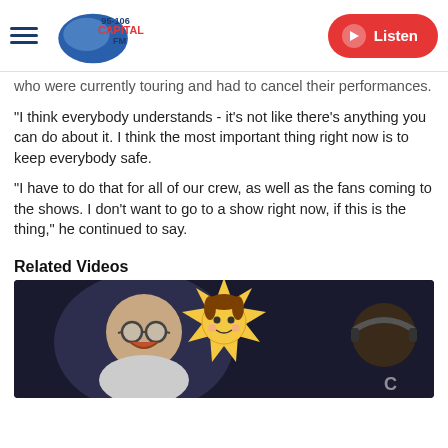95-106 Capital FM | Listen
who were currently touring and had to cancel their performances.
"I think everybody understands - it's not like there's anything you can do about it. I think the most important thing right now is to keep everybody safe.
"I have to do that for all of our crew, as well as the fans coming to the shows. I don't want to go to a show right now, if this is the thing," he continued to say.
Related Videos
[Figure (photo): Two men laughing in a radio studio with a cartoon character emoji overlaid in the center]